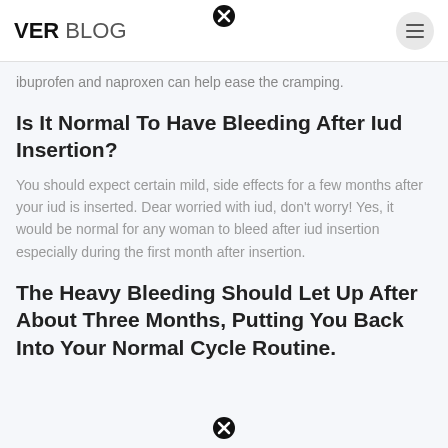VER BLOG
ibuprofen and naproxen can help ease the cramping.
Is It Normal To Have Bleeding After Iud Insertion?
You should expect certain mild, side effects for a few months after your iud is inserted. Dear worried with iud, don't worry! Yes, it would be normal for any woman to bleed after iud insertion especially during the first month after insertion.
The Heavy Bleeding Should Let Up After About Three Months, Putting You Back Into Your Normal Cycle Routine.